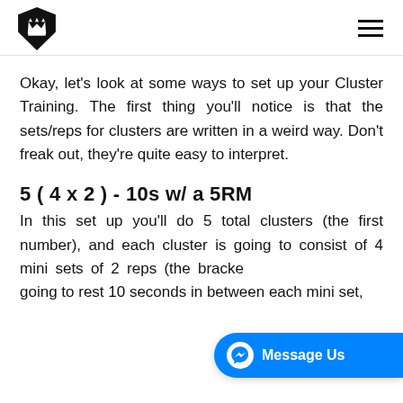[Logo] [Hamburger menu]
Okay, let's look at some ways to set up your Cluster Training. The first thing you'll notice is that the sets/reps for clusters are written in a weird way. Don't freak out, they're quite easy to interpret.
5 ( 4 x 2 ) - 10s w/ a 5RM
In this set up you'll do 5 total clusters (the first number), and each cluster is going to consist of 4 mini sets of 2 reps (the bracketed number). You're going to rest 10 seconds in between each mini set,
[Figure (screenshot): Messenger 'Message Us' chat button overlay in bottom right]